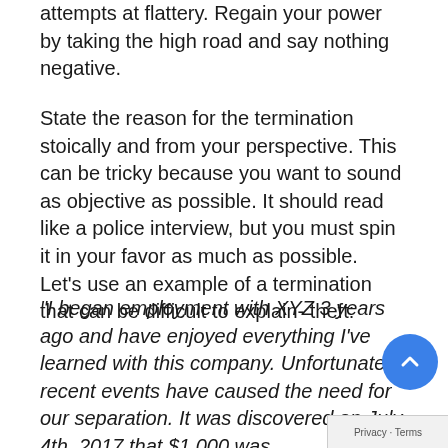attempts at flattery. Regain your power by taking the high road and say nothing negative.
State the reason for the termination stoically and from your perspective. This can be tricky because you want to sound as objective as possible. It should read like a police interview, but you must spin it in your favor as much as possible. Let's use an example of a termination that can be difficult to explain- theft:
“I began employment with XYZ 3 years ago and have enjoyed everything I’ve learned with this company. Unfortunately, recent events have caused the need for our separation. It was discovered on July 4th, 2017 that $1,000 was